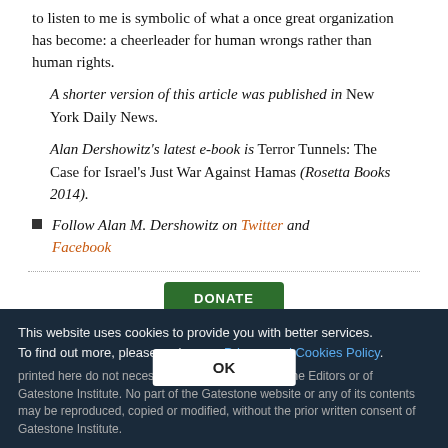to listen to me is symbolic of what a once great organization has become: a cheerleader for human wrongs rather than human rights.
A shorter version of this article was published in New York Daily News.
Alan Dershowitz's latest e-book is Terror Tunnels: The Case for Israel's Just War Against Hamas (Rosetta Books 2014).
Follow Alan M. Dershowitz on Twitter and Facebook
[Figure (other): DONATE button (dark green rounded rectangle)]
This website uses cookies to provide you with better services. To find out more, please review our Privacy and Cookies Policy.
printed here do not necessarily reflect the views of the Editors or of Gatestone Institute. No part of the Gatestone website or any of its contents may be reproduced, copied or modified, without the prior written consent of Gatestone Institute.
[Figure (other): OK button (white rectangle overlay on cookie banner)]